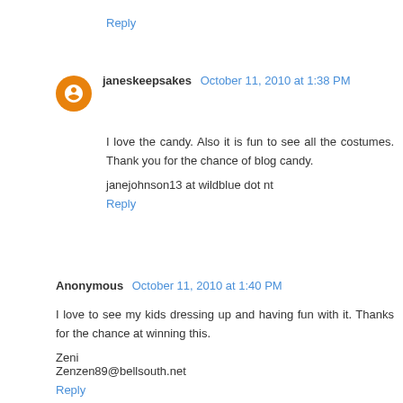Reply
janeskeepsakes October 11, 2010 at 1:38 PM
I love the candy. Also it is fun to see all the costumes. Thank you for the chance of blog candy.
janejohnson13 at wildblue dot nt
Reply
Anonymous October 11, 2010 at 1:40 PM
I love to see my kids dressing up and having fun with it. Thanks for the chance at winning this.
Zeni
Zenzen89@bellsouth.net
Reply